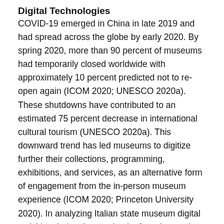Digital Technologies
COVID-19 emerged in China in late 2019 and had spread across the globe by early 2020. By spring 2020, more than 90 percent of museums had temporarily closed worldwide with approximately 10 percent predicted not to re-open again (ICOM 2020; UNESCO 2020a). These shutdowns have contributed to an estimated 75 percent decrease in international cultural tourism (UNESCO 2020a). This downward trend has led museums to digitize further their collections, programming, exhibitions, and services, as an alternative form of engagement from the in-person museum experience (ICOM 2020; Princeton University 2020). In analyzing Italian state museum digital activities during the pandemic, Agostino et al. (2020) demonstrate how the acceleration of digitization during the pandemic has intensified platforms' integrality in the cultural